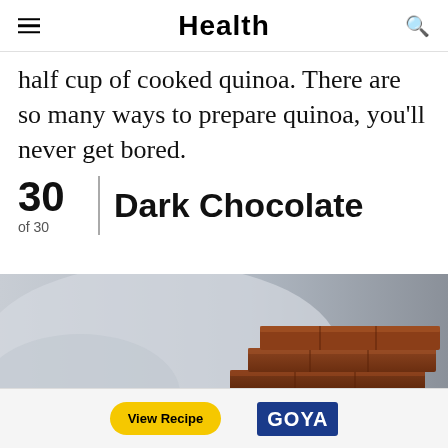Health
half cup of cooked quinoa. There are so many ways to prepare quinoa, you'll never get bored.
30 | Dark Chocolate
of 30
[Figure (photo): Stacked pieces of dark chocolate on a light background]
Ad
[Figure (infographic): Advertisement banner with View Recipe button and Goya logo]